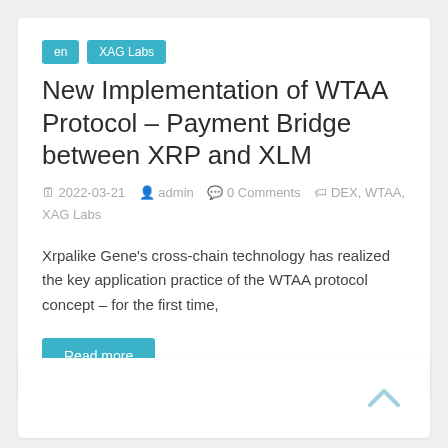en
XAG Labs
New Implementation of WTAA Protocol – Payment Bridge between XRP and XLM
2022-03-21   admin   0 Comments   DEX, WTAA, XAG Labs
Xrpalike Gene's cross-chain technology has realized the key application practice of the WTAA protocol concept – for the first time,
Read more